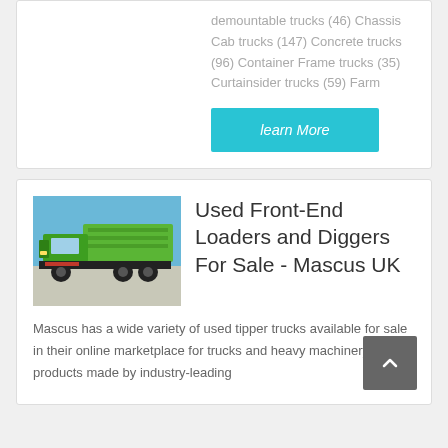demountable trucks (46) Chassis Cab trucks (147) Concrete trucks (96) Container Frame trucks (35) Curtainsider trucks (59) Farm
learn More
[Figure (photo): Green tipper truck (Sinotruk/HOWO) parked outdoors against a blue sky background]
Used Front-End Loaders and Diggers For Sale - Mascus UK
Mascus has a wide variety of used tipper trucks available for sale in their online marketplace for trucks and heavy machinery. With products made by industry-leading